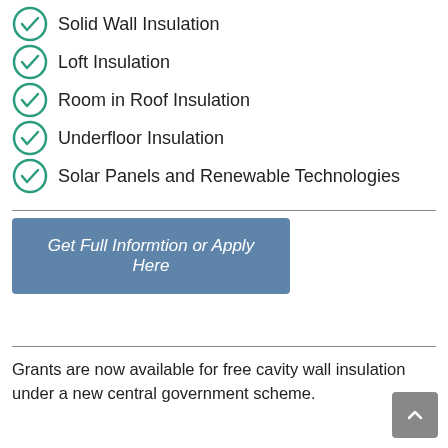Solid Wall Insulation
Loft Insulation
Room in Roof Insulation
Underfloor Insulation
Solar Panels and Renewable Technologies
Get Full Informtion or Apply Here
Grants are now available for free cavity wall insulation under a new central government scheme.